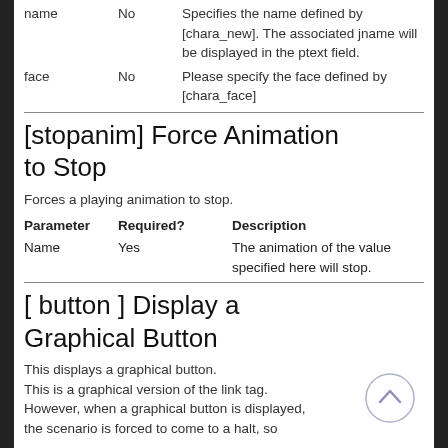| Parameter | Required? | Description |
| --- | --- | --- |
| name | No | Specifies the name defined by [chara_new]. The associated jname will be displayed in the ptext field. |
| face | No | Please specify the face defined by [chara_face] |
[stopanim] Force Animation to Stop
Forces a playing animation to stop.
| Parameter | Required? | Description |
| --- | --- | --- |
| Name | Yes | The animation of the value specified here will stop. |
[ button ] Display a Graphical Button
This displays a graphical button.
This is a graphical version of the link tag.
However, when a graphical button is displayed, the scenario is forced to come to a halt, so